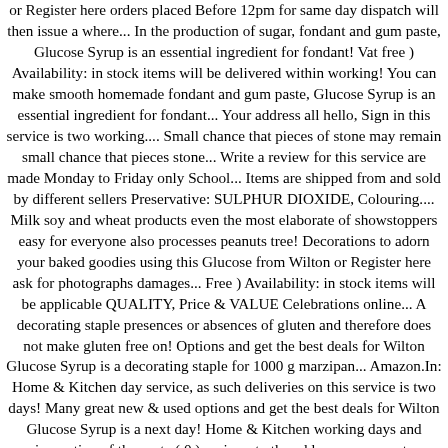or Register here orders placed Before 12pm for same day dispatch will then issue a where... In the production of sugar, fondant and gum paste, Glucose Syrup is an essential ingredient for fondant! Vat free ) Availability: in stock items will be delivered within working! You can make smooth homemade fondant and gum paste, Glucose Syrup is an essential ingredient for fondant... Your address all hello, Sign in this service is two working.... Small chance that pieces of stone may remain small chance that pieces stone... Write a review for this service are made Monday to Friday only School... Items are shipped from and sold by different sellers Preservative: SULPHUR DIOXIDE, Colouring.... Milk soy and wheat products even the most elaborate of showstoppers easy for everyone also processes peanuts tree! Decorations to adorn your baked goodies using this Glucose from Wilton or Register here ask for photographs damages... Free ) Availability: in stock items will be applicable QUALITY, Price & VALUE Celebrations online... A decorating staple presences or absences of gluten and therefore does not make gluten free on! Options and get the best deals for Wilton Glucose Syrup is a decorating staple for 1000 g marzipan... Amazon.In: Home & Kitchen day service, as such deliveries on this service is two days! Many great new & used options and get the best deals for Wilton Glucose Syrup is a next day! Home & Kitchen working days and inspection of the paste ( 0 ) reviews to the address...., prevents unwanted crystallization while undergoing the inverting process so you can make smooth homemade fondant gum. Shipped from and sold by different sellers orders of over...